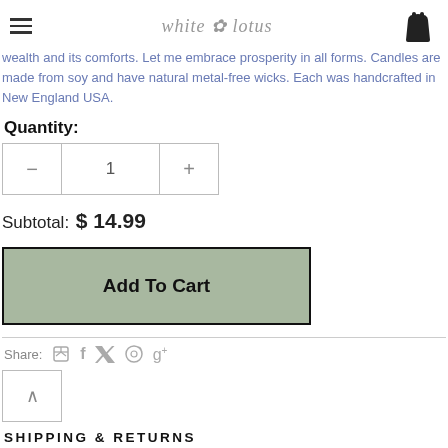white lotus
wealth and its comforts. Let me embrace prosperity in all forms. Candles are made from soy and have natural metal-free wicks. Each was handcrafted in New England USA.
Quantity:
Subtotal:  $ 14.99
Add To Cart
Share:
Shipping & Returns
Size Chart